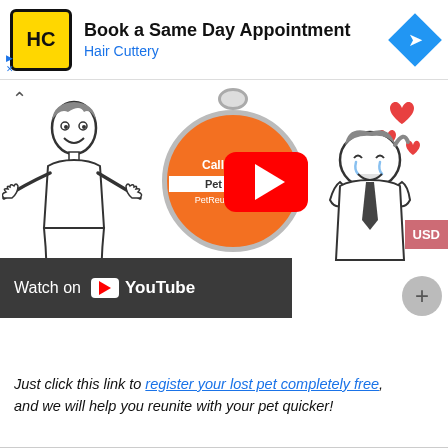[Figure (screenshot): Advertisement banner for Hair Cuttery: Book a Same Day Appointment with HC logo and navigation arrow icon]
[Figure (screenshot): YouTube video thumbnail showing PetReunite.com.au animated video with woman illustration, orange pet ID tag showing 'Call 1300 7...' and 'Pet ID: 116...', YouTube play button overlay, Watch on YouTube bar, and cartoon person with hearts on right side]
Just click this link to register your lost pet completely free, and we will help you reunite with your pet quicker!